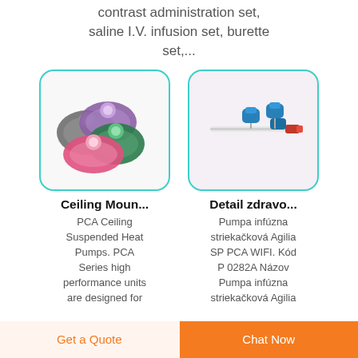contrast administration set, saline I.V. infusion set, burette set,...
[Figure (photo): Colorful oxygen masks in grey, purple, green and pink colors]
[Figure (photo): Medical IV catheter/needle with blue and red connectors on light pink background]
Ceiling Moun...
Detail zdravo...
PCA Ceiling Suspended Heat Pumps. PCA Series high performance units are designed for
Pumpa infúzna striekačková Agilia SP PCA WIFI. Kód P 0282A Názov Pumpa infúzna striekačková Agilia SP PCA WIFI.
Get a Quote
Chat Now